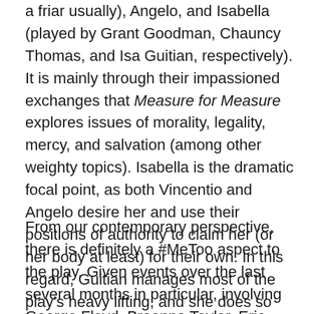a friar usually), Angelo, and Isabella (played by Grant Goodman, Chauncy Thomas, and Isa Guitian, respectively). It is mainly through their impassioned exchanges that Measure for Measure explores issues of morality, legality, mercy, and salvation (among other weighty topics). Isabella is the dramatic focal point, as both Vincentio and Angelo desire her and use their positions of authority to claim her (or her body at least) for their own. In this regard, Guitian manages most of the play's heavy lifting, and she does so with admirable flair. Goodman and Thomas prove worthy sparring partners.
From our contemporary perspective, there is definitely a #MeToo aspect to the play. Given events over the last several months in particular, involving George Floyd, Breonna Taylor, Eric Garner (and, sadly, so on and so on), I also found myself keenly focused on what the play says